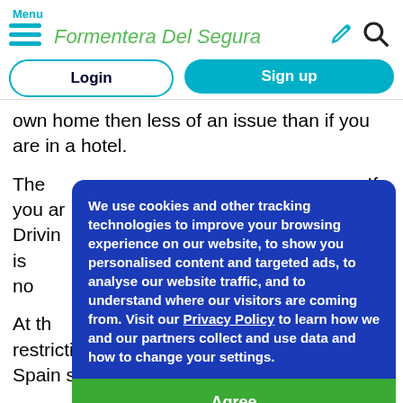Menu | Formentera Del Segura
Login
Sign up
own home then less of an issue than if you are in a hotel.
We use cookies and other tracking technologies to improve your browsing experience on our website, to show you personalised content and targeted ads, to analyse our website traffic, and to understand where our visitors are coming from. Visit our Privacy Policy to learn how we and our partners collect and use data and how to change your settings.
Agree
The [partially obscured] If you ar[e] [partially obscured] ier. Driving [partially obscured] to self-is[olating] [partially obscured] lland, I'm no[t] [partially obscured]
At th[e time] [partially obscured] sed restrictions on travel back into the UK from Spain so you should watch out for changes.
Sorry, nothing very positive above.
Ni[...]